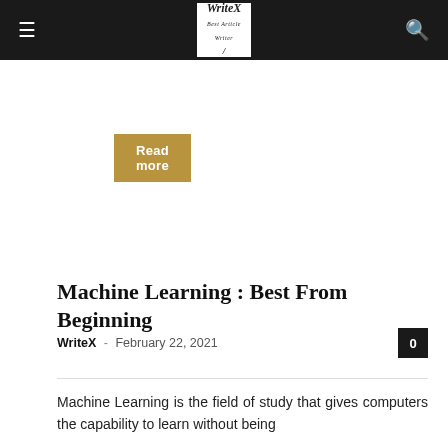WriteX — Navigation header with hamburger menu, logo, and search icon
Read more
Machine Learning : Best From Beginning
WriteX - February 22, 2021   0
Machine Learning is the field of study that gives computers the capability to learn without being